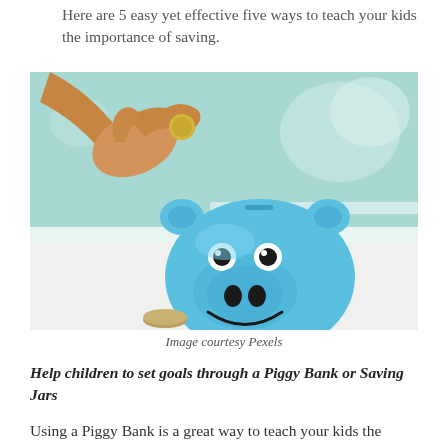Here are 5 easy yet effective five ways to teach your kids the importance of saving.
[Figure (photo): A hand holding a coin over a blue smiling piggy bank, with another coin on the surface in front of it.]
Image courtesy Pexels
Help children to set goals through a Piggy Bank or Saving Jars
Using a Piggy Bank is a great way to teach your kids the